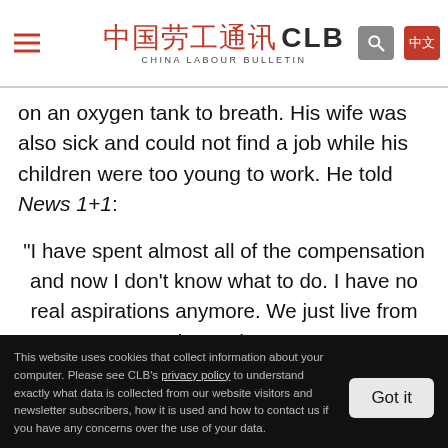China Labour Bulletin CLB
on an oxygen tank to breath. His wife was also sick and could not find a job while his children were too young to work. He told News 1+1:
"I have spent almost all of the compensation and now I don't know what to do. I have no real aspirations anymore. We just live from day to day."
This website uses cookies that collect information about your computer. Please see CLB's privacy policy to understand exactly what data is collected from our website visitors and newsletter subscribers, how it is used and how to contact us if you have any concerns over the use of your data.